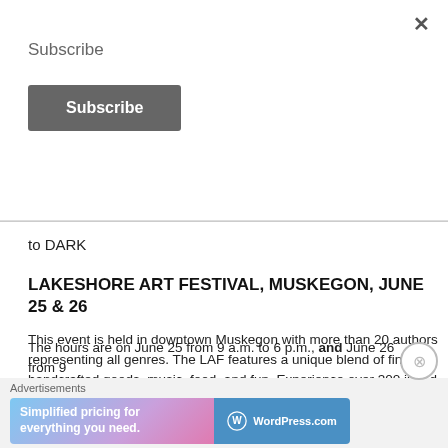×
Subscribe
Subscribe
to DARK
LAKESHORE ART FESTIVAL, MUSKEGON, JUNE 25 & 26
This event is held in downtown Muskegon with more than 20 authors representing all genres. The LAF features a unique blend of fine art, handcrafted goods, music, food, and fun. Experience over 300 juried fine art and specialty craft exhibitors, a Children's Lane, an artisan food market, street performers, multiple interactive art stations and so much more.
The hours are on June 25 from 9 a.m. to 6 p.m., and June 26 from 9
Advertisements
[Figure (screenshot): WordPress.com advertisement banner: 'Simplified pricing for everything you need.']